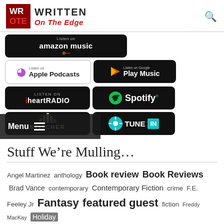WR OTE | WRITTEN On The Edge
[Figure (screenshot): Streaming platform badges: Amazon Music, Apple Podcasts, Google Play Music, iHeartRADIO, Spotify, Stitcher, TuneIn]
Menu ☰
Stuff We're Mulling…
Angel Martinez anthology Book review Book Reviews Brad Vance contemporary Contemporary Fiction crime F.E. Feeley Jr Fantasy featured guest fiction Freddy MacKay Holiday horror J. Scott Coatsworth Jamie Fessenden Jayne